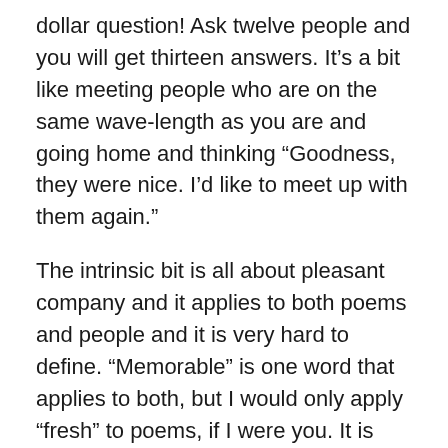dollar question! Ask twelve people and you will get thirteen answers. It’s a bit like meeting people who are on the same wave-length as you are and going home and thinking “Goodness, they were nice. I’d like to meet up with them again.”
The intrinsic bit is all about pleasant company and it applies to both poems and people and it is very hard to define. “Memorable” is one word that applies to both, but I would only apply “fresh” to poems, if I were you. It is very much a personal taste thing, but the more people you meet and the more poems you read, the richer you will become.
There are lots of definitions of poetry by lots of people; I go along with Dylan Thomas who said — and I hope I quote him correctly — “Poetry is what makes me laugh or